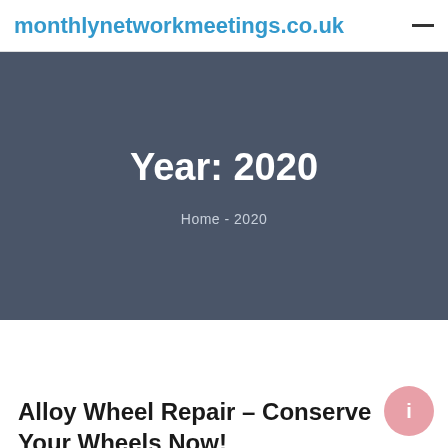monthlynetworkmeetings.co.uk
Year: 2020
Home - 2020
Alloy Wheel Repair – Conserve Your Wheels Now!